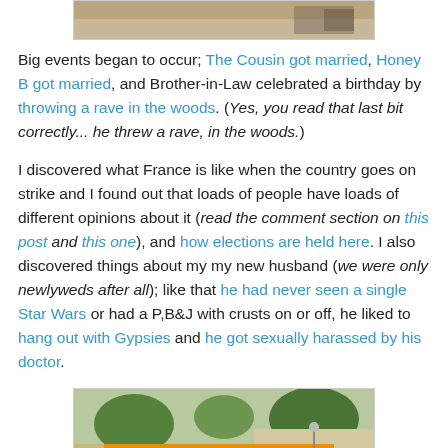[Figure (photo): Top partial photo, cropped, showing a scene from above]
Big events began to occur; The Cousin got married, Honey B got married, and Brother-in-Law celebrated a birthday by throwing a rave in the woods. (Yes, you read that last bit correctly... he threw a rave, in the woods.)
I discovered what France is like when the country goes on strike and I found out that loads of people have loads of different opinions about it (read the comment section on this post and this one), and how elections are held here. I also discovered things about my my new husband (we were only newlyweds after all); like that he had never seen a single Star Wars or had a P,B&J with crusts on or off, he liked to hang out with Gypsies and he got sexually harassed by his doctor.
[Figure (photo): Photo of a street festival with a banner reading 'FETE du FROMAGE DIMANCHE 22 MAI' and orange parasols/umbrellas in the background with trees and buildings]